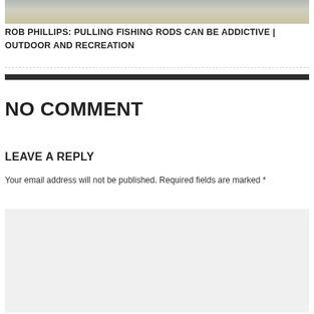[Figure (photo): Partial photo of fishing rods in a rack, cropped at top]
ROB PHILLIPS: PULLING FISHING RODS CAN BE ADDICTIVE | OUTDOOR AND RECREATION
NO COMMENT
LEAVE A REPLY
Your email address will not be published. Required fields are marked *